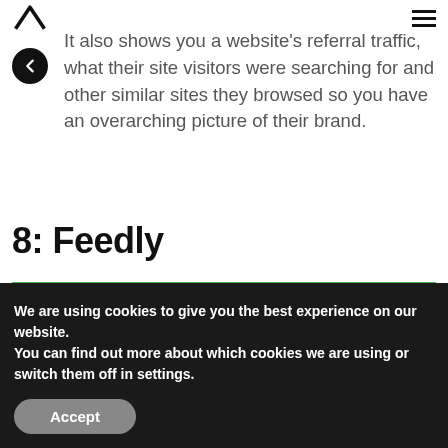It also shows you a website's referral traffic, what their site visitors were searching for and other similar sites they browsed so you have an overarching picture of their brand.
8: Feedly
[Figure (screenshot): Feedly app interface screenshot with green background showing white icons]
We are using cookies to give you the best experience on our website.
You can find out more about which cookies we are using or switch them off in settings.